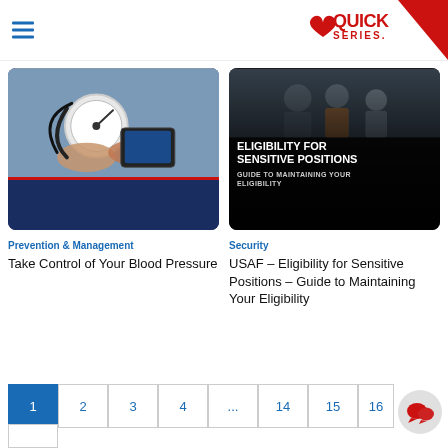Quick Series — hamburger menu and logo header
[Figure (photo): Blood pressure cuff and smartphone photo with dark navy blue bottom bar and red divider line]
[Figure (photo): Military personnel background with dark overlay text: ELIGIBILITY FOR SENSITIVE POSITIONS — GUIDE TO MAINTAINING YOUR ELIGIBILITY]
Prevention & Management
Take Control of Your Blood Pressure
Security
USAF – Eligibility for Sensitive Positions – Guide to Maintaining Your Eligibility
1
2
3
4
...
14
15
16